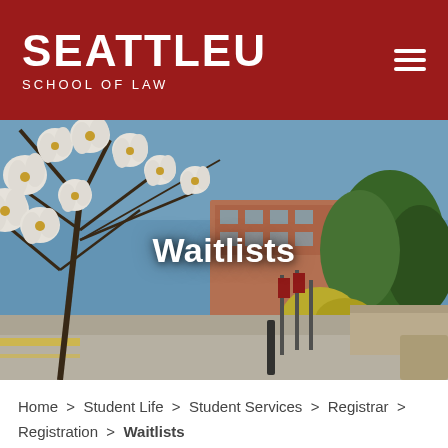SEATTLE U SCHOOL OF LAW
[Figure (photo): Campus photo showing white blooming magnolia tree branches in foreground with a brick university building and green trees in background under a blue sky. The word 'Waitlists' is overlaid in white bold text at center.]
Waitlists
Home > Student Life > Student Services > Registrar > Registration > Waitlists